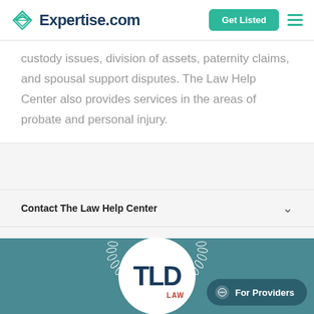Expertise.com
custody issues, division of assets, paternity claims, and spousal support disputes. The Law Help Center also provides services in the areas of probate and personal injury.
Contact The Law Help Center
[Figure (logo): TLD Law firm logo — circular white badge with dark navy 'TLD' letters and red 'LAW' text, surrounded by white laurel wreath on teal background]
For Providers